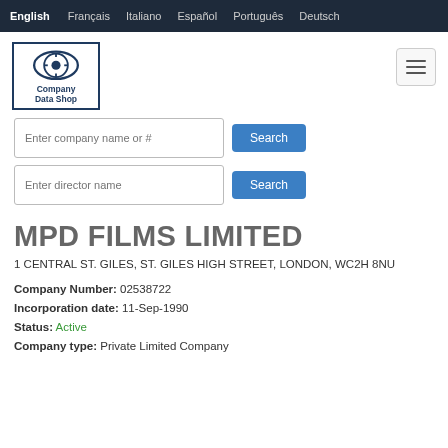English  Français  Italiano  Español  Português  Deutsch
[Figure (logo): Company Data Shop logo with eye/compass icon and text]
Enter company name or #  Search
Enter director name  Search
MPD FILMS LIMITED
1 CENTRAL ST. GILES, ST. GILES HIGH STREET, LONDON, WC2H 8NU
Company Number: 02538722
Incorporation date: 11-Sep-1990
Status: Active
Company type: Private Limited Company